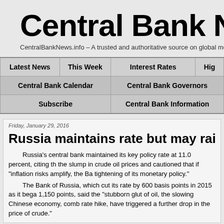Central Bank News
CentralBankNews.info – A trusted and authoritative source on global mo
| Latest News | This Week | Interest Rates | Hig |
| --- | --- | --- | --- |
| Central Bank Calendar | Central Bank Governors |  |
| Subscribe | Central Bank Information |  |
Friday, January 29, 2016
Russia maintains rate but may raise if in
Russia's central bank maintained its key policy rate at 11.0 percent, citing the slump in crude oil prices and cautioned that if "inflation risks amplify, the Ba tightening of its monetary policy." The Bank of Russia, which cut its rate by 600 basis points in 2015 as it bega 1,150 points, said the "stubborn glut of oil, the slowing Chinese economy, comb rate hike, have triggered a further drop in the price of crude."